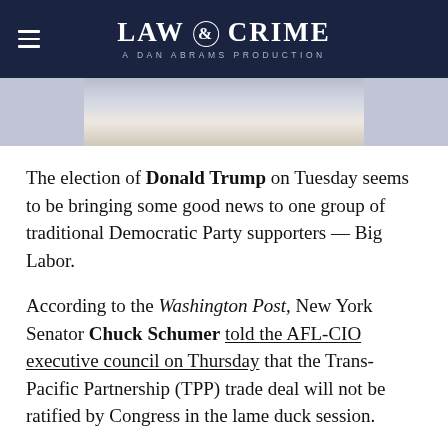LAW & CRIME — A DAN ABRAMS PRODUCTION
[Figure (photo): Partial photo of people, cropped — only bottom portion visible showing figures in light-colored clothing]
The election of Donald Trump on Tuesday seems to be bringing some good news to one group of traditional Democratic Party supporters — Big Labor.
According to the Washington Post, New York Senator Chuck Schumer told the AFL-CIO executive council on Thursday that the Trans-Pacific Partnership (TPP) trade deal will not be ratified by Congress in the lame duck session.
TPP was the centerpiece of President Obama's so